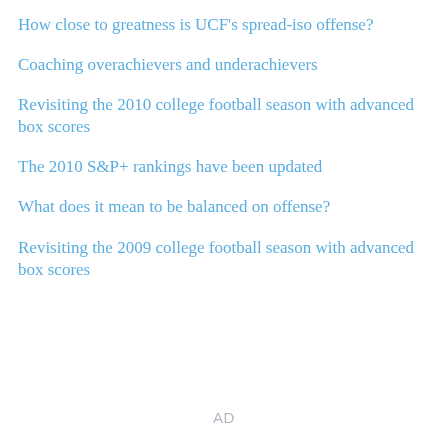How close to greatness is UCF's spread-iso offense?
Coaching overachievers and underachievers
Revisiting the 2010 college football season with advanced box scores
The 2010 S&P+ rankings have been updated
What does it mean to be balanced on offense?
Revisiting the 2009 college football season with advanced box scores
AD